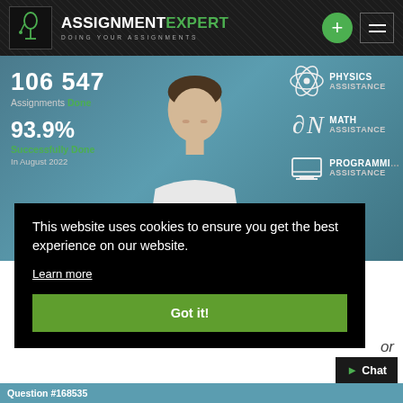[Figure (screenshot): AssignmentExpert website header with logo showing microscope icon, text ASSIGNMENT in white and EXPERT in green, subtitle DOING YOUR ASSIGNMENTS in grey. Two icons on right: green plus circle button and hamburger menu button.]
[Figure (infographic): Hero banner with blue-teal gradient background showing statistics: 106 547 Assignments Done, 93.9% Successfully Done In August 2022. Right side shows Physics Assistance (atom icon), Math Assistance (sigma icon), Programming Assistance (laptop icon). Center shows photo of a man in white shirt.]
This website uses cookies to ensure you get the best experience on our website.
Learn more
Got it!
or
Chat
Question #168535